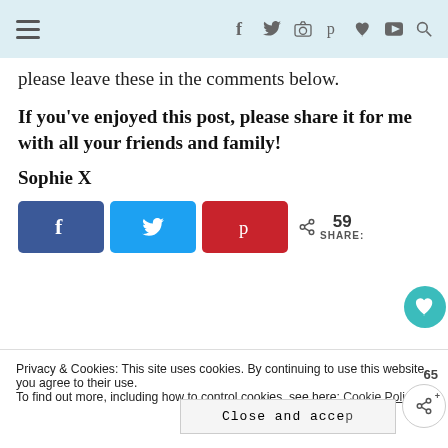Navigation header with hamburger menu and social icons
please leave these in the comments below.
If you've enjoyed this post, please share it for me with all your friends and family!
Sophie X
[Figure (other): Social share buttons: Facebook (blue), Twitter (light blue), Pinterest (red), and a share count showing 59 SHARE:]
Privacy & Cookies: This site uses cookies. By continuing to use this website, you agree to their use.
To find out more, including how to control cookies, see here: Cookie Policy
Close and accept